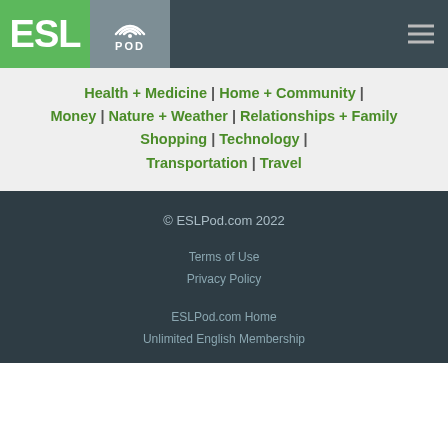[Figure (logo): ESL Pod logo with green ESL block and grey POD block with wifi icon]
Health + Medicine | Home + Community | Money | Nature + Weather | Relationships + Family | Shopping | Technology | Transportation | Travel
© ESLPod.com 2022
Terms of Use
Privacy Policy
ESLPod.com Home
Unlimited English Membership